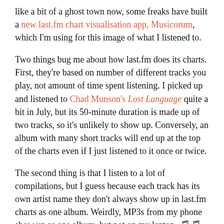like a bit of a ghost town now, some freaks have built a new last.fm chart visualisation app, Musicorum, which I'm using for this image of what I listened to.
Two things bug me about how last.fm does its charts. First, they're based on number of different tracks you play, not amount of time spent listening. I picked up and listened to Chad Munson's Lost Language quite a bit in July, but its 50-minute duration is made up of two tracks, so it's unlikely to show up. Conversely, an album with many short tracks will end up at the top of the charts even if I just listened to it once or twice.
The second thing is that I listen to a lot of compilations, but I guess because each track has its own artist name they don't always show up in last.fm charts as one album. Weirdly, MP3s from my phone show up as one album, but not on my laptop. 🎵🎵